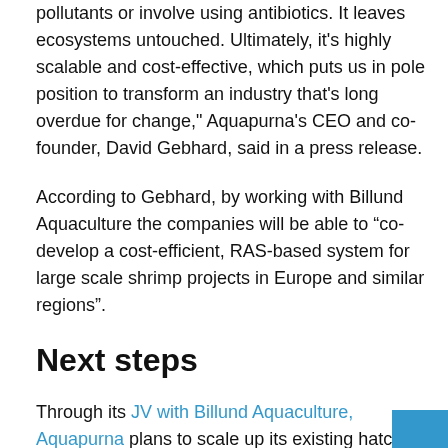pollutants or involve using antibiotics. It leaves ecosystems untouched. Ultimately, it's highly scalable and cost-effective, which puts us in pole position to transform an industry that's long overdue for change," Aquapurna's CEO and co-founder, David Gebhard, said in a press release.
According to Gebhard, by working with Billund Aquaculture the companies will be able to “co-develop a cost-efficient, RAS-based system for large scale shrimp projects in Europe and similar regions”.
Next steps
Through its JV with Billund Aquaculture, Aquapurna plans to scale up its existing hatchery “Lakshmi”, where it is raising broodstock and producing shrimp nauplii, as well as build a large-scale Lighthouse Project that aims to start the revolution of land-based shrimp farming through the development of